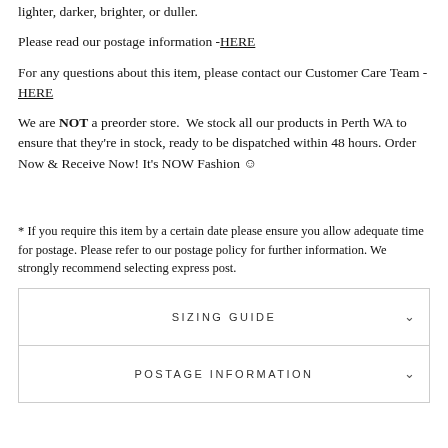lighter, darker, brighter, or duller.
Please read our postage information - HERE
For any questions about this item, please contact our Customer Care Team - HERE
We are NOT a preorder store. We stock all our products in Perth WA to ensure that they're in stock, ready to be dispatched within 48 hours. Order Now & Receive Now! It's NOW Fashion ☺
* If you require this item by a certain date please ensure you allow adequate time for postage. Please refer to our postage policy for further information. We strongly recommend selecting express post.
| SIZING GUIDE | POSTAGE INFORMATION |
| --- | --- |